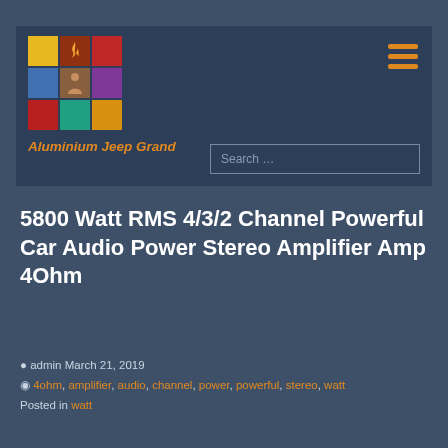[Figure (logo): 3x3 colored grid logo with flame icon and person silhouette]
Aluminium Jeep Grand
Search …
5800 Watt RMS 4/3/2 Channel Powerful Car Audio Power Stereo Amplifier Amp 4Ohm
admin March 21, 2019
4ohm, amplifier, audio, channel, power, powerful, stereo, watt
Posted in watt